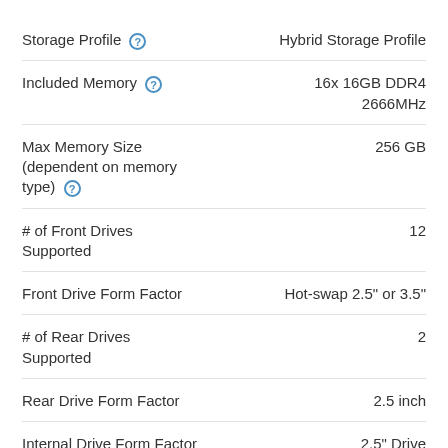| Specification | Value |
| --- | --- |
| Storage Profile | Hybrid Storage Profile |
| Included Memory | 16x 16GB DDR4 2666MHz |
| Max Memory Size (dependent on memory type) | 256 GB |
| # of Front Drives Supported | 12 |
| Front Drive Form Factor | Hot-swap 2.5" or 3.5" |
| # of Rear Drives Supported | 2 |
| Rear Drive Form Factor | 2.5 inch |
| Internal Drive Form Factor | 2.5" Drive |